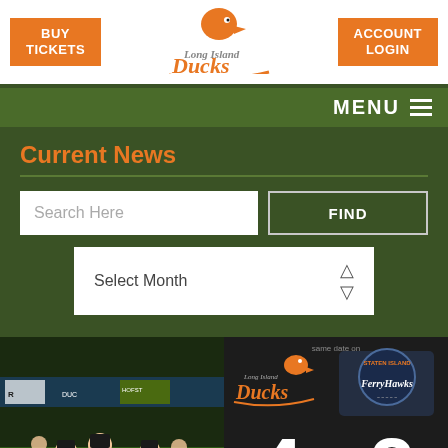[Figure (screenshot): Long Island Ducks website header with BUY TICKETS button, Ducks logo, and ACCOUNT LOGIN button]
MENU ≡
Current News
Search Here
FIND
Select Month
[Figure (photo): Long Island Ducks players in orange uniforms walking off the field]
[Figure (infographic): Score graphic: Long Island Ducks 4, Staten Island FerryHawks 2]